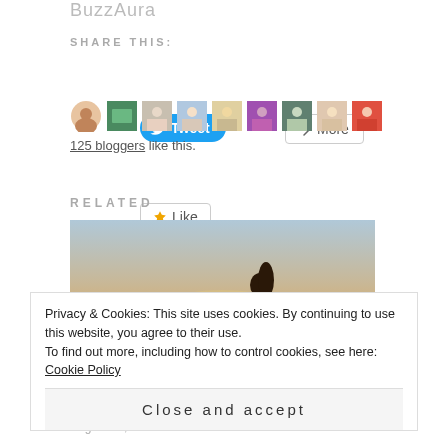BuzzAura
SHARE THIS:
[Figure (screenshot): Tweet button (blue pill) and More button (bordered)]
[Figure (screenshot): Like button and row of blogger avatar thumbnails]
125 bloggers like this.
RELATED
[Figure (photo): Silhouette of a woman against a warm sunset sky with tree silhouette in foreground]
Privacy & Cookies: This site uses cookies. By continuing to use this website, you agree to their use.
To find out more, including how to control cookies, see here: Cookie Policy
Close and accept
August 26, 2016